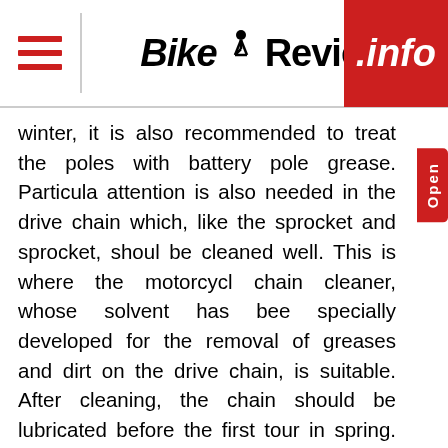BikeReview.info
winter, it is also recommended to treat the poles with battery pole grease. Particular attention is also needed in the drive chain which, like the sprocket and sprocket, should be cleaned well. This is where the motorcycle chain cleaner, whose solvent has been specially developed for the removal of greases and dirt on the drive chain, is suitable. After cleaning, the chain should be lubricated before the first tour in spring. White or transparent motorcycle chain spray is available for this purpose. Both products are fully synthetic lubricants and are equally suitable for 0, X and Z rings. Thanks to their good flow and mesh properties, the products advance to every point in seconds and ensure effective lubrication. During lubrication, wear can also be checked immediately: If the chain can be lifted off from the sprocket or so-called shark teeth can be seen on the sprocket and